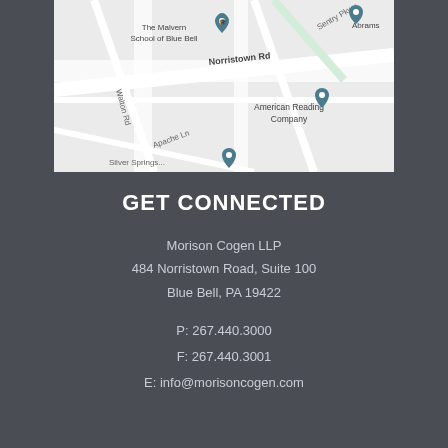[Figure (map): Google map showing the area around 484 Norristown Road, Blue Bell PA. Shows streets including Norristown Rd, Walton Rd, Apache Ln, Sentry Pkwy, landmarks including The Malvern School of Blue Bell, American Reading Company, Abrams. Map pins visible for multiple locations.]
GET CONNECTED
Morison Cogen LLP
484 Norristown Road, Suite 100
Blue Bell, PA 19422
P: 267.440.3000
F: 267.440.3001
E: info@morisoncogen.com